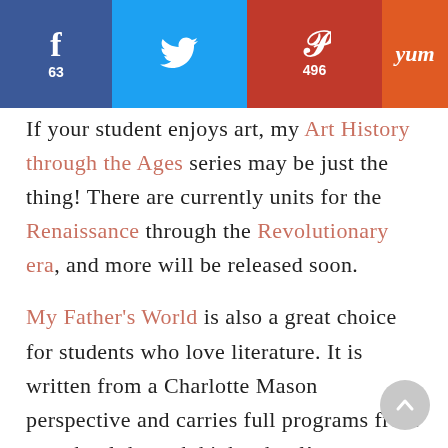[Figure (infographic): Social sharing bar with Facebook (63), Twitter, Pinterest (496), and Yummly buttons]
If your student enjoys art, my Art History through the Ages series may be just the thing! There are currently units for the Renaissance through the Revolutionary era, and more will be released soon.

My Father's World is also a great choice for students who love literature. It is written from a Charlotte Mason perspective and carries full programs from preschool through high school!